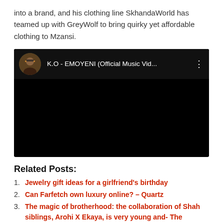into a brand, and his clothing line SkhandaWorld has teamed up with GreyWolf to bring quirky yet affordable clothing to Mzansi.
[Figure (screenshot): Embedded YouTube-style video player with black background. Header shows circular avatar thumbnail of a person, title text 'K.O - EMOYENI (Official Music Vid...' in white on dark background, and a three-dot menu icon on the right.]
Related Posts:
Jewelry gift ideas for a girlfriend's birthday
Can Farfetch own luxury online? – Quartz
The magic of brotherhood: the collaboration of Shah siblings, Arohi X Ekaya, is very young and- The